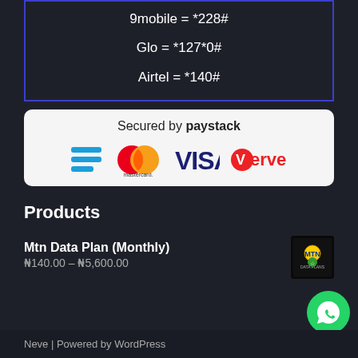9mobile = *228#
Glo = *127*0#
Airtel = *140#
[Figure (logo): Secured by paystack badge with Mastercard, VISA, Verve logos]
Products
Mtn Data Plan (Monthly)
₦140.00 – ₦5,600.00
Neve | Powered by WordPress